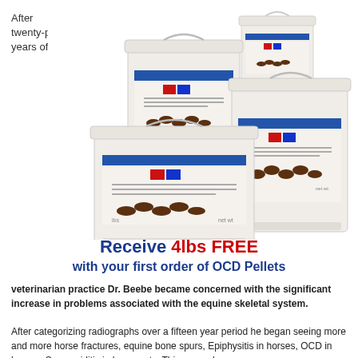After twenty-plus years of
[Figure (photo): Three white plastic buckets/containers of OCD Pellets product with blue and red labels showing horses, arranged in a group with one smaller container on top]
Receive 4lbs FREE with your first order of OCD Pellets
veterinarian practice Dr. Beebe became concerned with the significant increase in problems associated with the equine skeletal system.
After categorizing radiographs over a fifteen year period he began seeing more and more horse fractures, equine bone spurs, Epiphysitis in horses, OCD in horses, Sesamoiditis in horses etc. This general